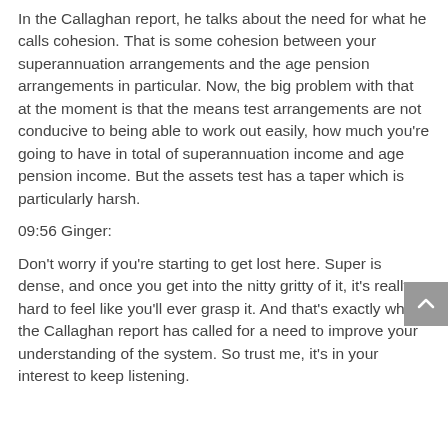In the Callaghan report, he talks about the need for what he calls cohesion. That is some cohesion between your superannuation arrangements and the age pension arrangements in particular. Now, the big problem with that at the moment is that the means test arrangements are not conducive to being able to work out easily, how much you're going to have in total of superannuation income and age pension income. But the assets test has a taper which is particularly harsh.
09:56 Ginger:
Don't worry if you're starting to get lost here. Super is dense, and once you get into the nitty gritty of it, it's really hard to feel like you'll ever grasp it. And that's exactly why the Callaghan report has called for a need to improve your understanding of the system. So trust me, it's in your interest to keep listening.